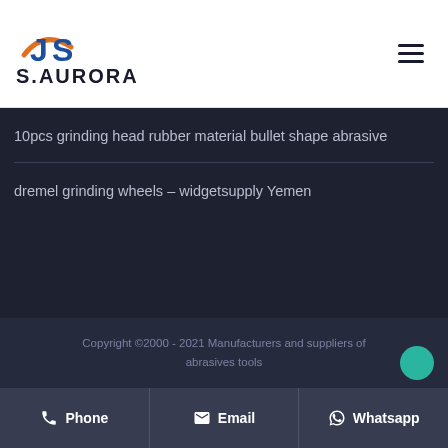S.AURORA
10pcs grinding head rubber material bullet shape abrasive
dremel grinding wheels – widgetsupply Yemen
Copyright ©2000 - 2021 Manufacturers and suppliers of abrasives tools
Phone
Email
Whatsapp